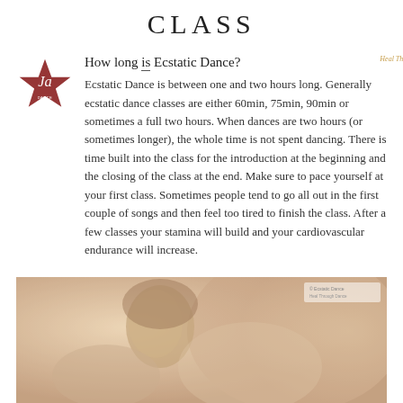CLASS
How long is Ecstatic Dance?
Ecstatic Dance is between one and two hours long. Generally ecstatic dance classes are either 60min, 75min, 90min or sometimes a full two hours. When dances are two hours (or sometimes longer), the whole time is not spent dancing. There is time built into the class for the introduction at the beginning and the closing of the class at the end. Make sure to pace yourself at your first class. Sometimes people tend to go all out in the first couple of songs and then feel too tired to finish the class. After a few classes your stamina will build and your cardiovascular endurance will increase.
[Figure (photo): A person dancing, shown in a soft warm-toned photograph, close-up of face and upper body.]